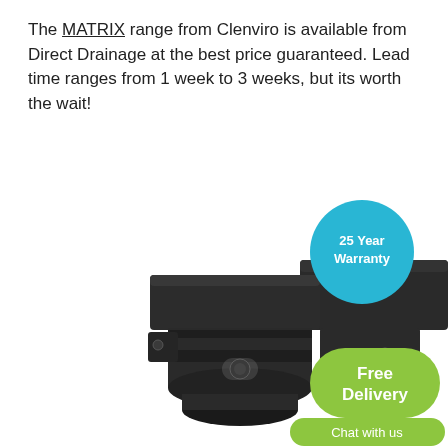The MATRIX range from Clenviro is available from Direct Drainage at the best price guaranteed. Lead time ranges from 1 week to 3 weeks, but its worth the wait!
[Figure (photo): Photo of MATRIX drainage products (black cylindrical and box-shaped drainage units) with a teal circle badge reading '25 Year Warranty' and a green rounded rectangle badge reading 'Free Delivery' and a green pill-shaped chat button reading 'Chat with us'.]